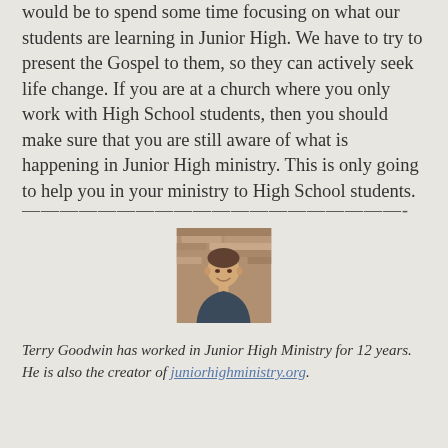would be to spend some time focusing on what our students are learning in Junior High. We have to try to present the Gospel to them, so they can actively seek life change. If you are at a church where you only work with High School students, then you should make sure that you are still aware of what is happening in Junior High ministry. This is only going to help you in your ministry to High School students.
————————————————————-
[Figure (photo): Headshot photo of Terry Goodwin, a man smiling, in front of a brick wall background]
Terry Goodwin has worked in Junior High Ministry for 12 years. He is also the creator of juniorhighministry.org.